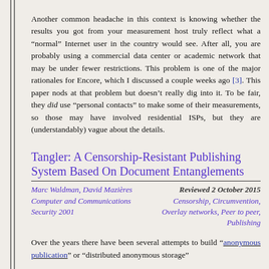Another common headache in this context is knowing whether the results you got from your measurement host truly reflect what a "normal" Internet user in the country would see. After all, you are probably using a commercial data center or academic network that may be under fewer restrictions. This problem is one of the major rationales for Encore, which I discussed a couple weeks ago [3]. This paper nods at that problem but doesn't really dig into it. To be fair, they did use "personal contacts" to make some of their measurements, so those may have involved residential ISPs, but they are (understandably) vague about the details.
Tangler: A Censorship-Resistant Publishing System Based On Document Entanglements
Marc Waldman, David Mazières
Computer and Communications Security 2001
Reviewed 2 October 2015
Censorship, Circumvention, Overlay networks, Peer to peer, Publishing
Over the years there have been several attempts to build "anonymous publication" or "distributed anonymous storage"